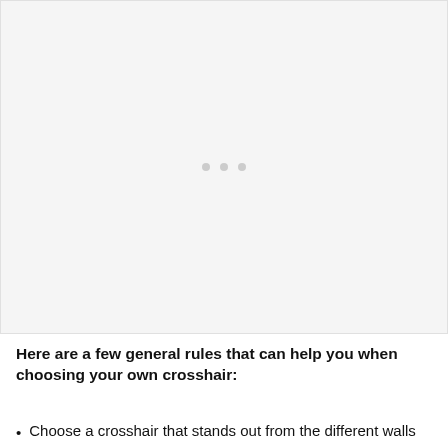[Figure (photo): A large light gray placeholder image region with three small gray dots centered in the middle, indicating an image carousel or loading state.]
Here are a few general rules that can help you when choosing your own crosshair:
Choose a crosshair that stands out from the different walls